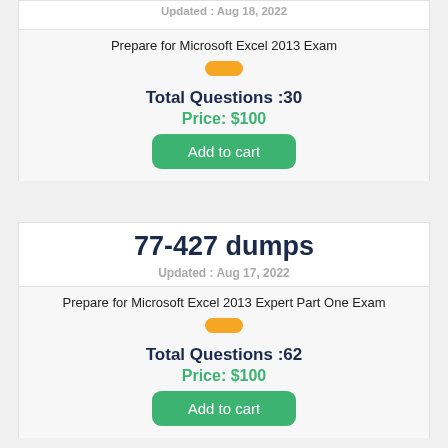Updated : Aug 18, 2022
Prepare for Microsoft Excel 2013 Exam
Total Questions :30
Price: $100
Add to cart
77-427 dumps
Updated : Aug 17, 2022
Prepare for Microsoft Excel 2013 Expert Part One Exam
Total Questions :62
Price: $100
Add to cart